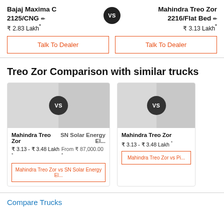Bajaj Maxima C 2125/CNG ✏ ₹ 2.83 Lakh*
vs
Mahindra Treo Zor 2216/Flat Bed ✏ ₹ 3.13 Lakh*
Talk To Dealer
Talk To Dealer
Treo Zor Comparison with similar trucks
[Figure (screenshot): Comparison card: Mahindra Treo Zor vs SN Solar Energy El... with VS badge, prices ₹ 3.13 - ₹ 3.48 Lakh* and From ₹ 87,000.00*, and CTA button 'Mahindra Treo Zor vs SN Solar Energy El...']
[Figure (screenshot): Comparison card: Mahindra Treo Zor vs Pi... with VS badge, price ₹ 3.13 - ₹ 3.48 Lakh* and CTA button 'Mahindra Treo Zor vs Pi...' (partially visible)]
Compare Trucks